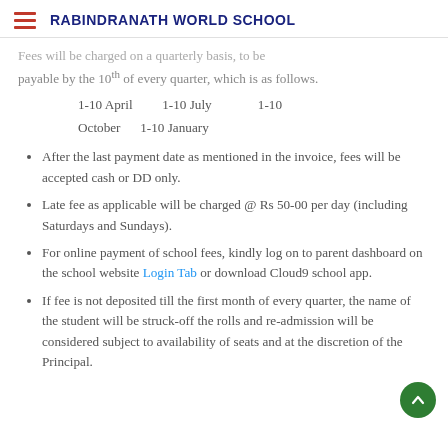RABINDRANATH WORLD SCHOOL
Fees will be charged on a quarterly basis, to be payable by the 10th of every quarter, which is as follows.
1-10 April    1-10 July    1-10 October    1-10 January
After the last payment date as mentioned in the invoice, fees will be accepted cash or DD only.
Late fee as applicable will be charged @ Rs 50-00 per day (including Saturdays and Sundays).
For online payment of school fees, kindly log on to parent dashboard on the school website Login Tab or download Cloud9 school app.
If fee is not deposited till the first month of every quarter, the name of the student will be struck-off the rolls and re-admission will be considered subject to availability of seats and at the discretion of the Principal.